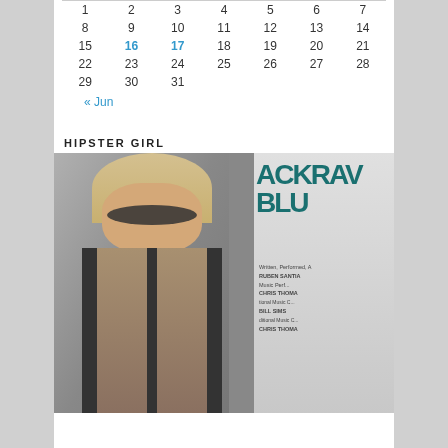| 1 | 2 | 3 | 4 | 5 | 6 | 7 |
| 8 | 9 | 10 | 11 | 12 | 13 | 14 |
| 15 | 16 | 17 | 18 | 19 | 20 | 21 |
| 22 | 23 | 24 | 25 | 26 | 27 | 28 |
| 29 | 30 | 31 |  |  |  |  |
« Jun
HIPSTER GIRL
[Figure (photo): A blonde woman with sunglasses smiling, wearing a gray and black sleeveless top, standing in front of a theater poster for a show featuring Ruben Santiago, Chris Thomas, Bill Sims.]